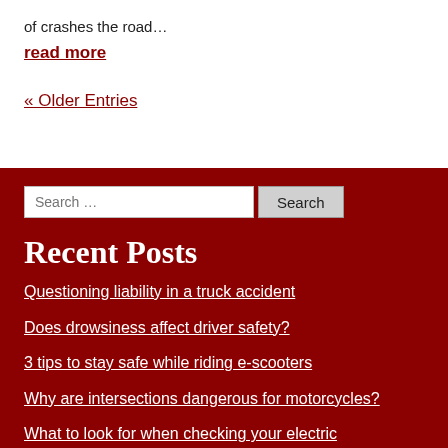of crashes the road…
read more
« Older Entries
Recent Posts
Questioning liability in a truck accident
Does drowsiness affect driver safety?
3 tips to stay safe while riding e-scooters
Why are intersections dangerous for motorcycles?
What to look for when checking your electric